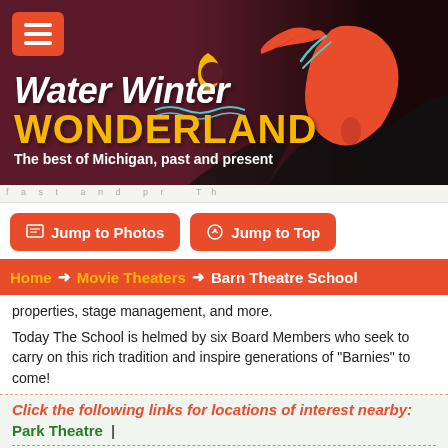[Figure (logo): Water Winter Wonderland website header banner with Michigan map silhouette, crescent moon, and tagline 'The best of Michigan, past and present']
properties, stage management, and more.
Today The School is helmed by six Board Members who seek to carry on this rich tradition and inspire generations of "Barnies" to come!
Click the following links for locations of interest nearby:
Park Theatre  |
Jump to Photos
Jump to Top
Home → Movie Theaters → Barn Theatre School
View on Google Maps
Google Search